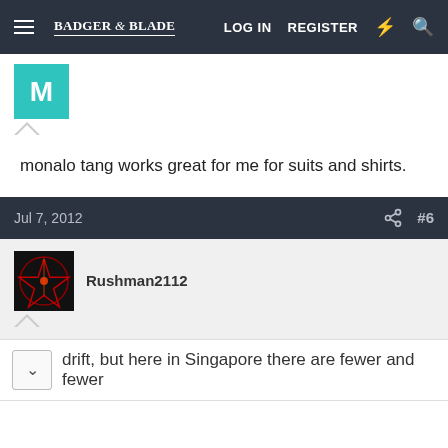Badger & Blade — LOG IN  REGISTER
[Figure (screenshot): Teal avatar with letter M]
monalo tang works great for me for suits and shirts.
Jul 7, 2012  #6
[Figure (photo): Rushman2112 avatar: black background with red glowing pentagram symbol]
Rushman2112
drift, but here in Singapore there are fewer and fewer